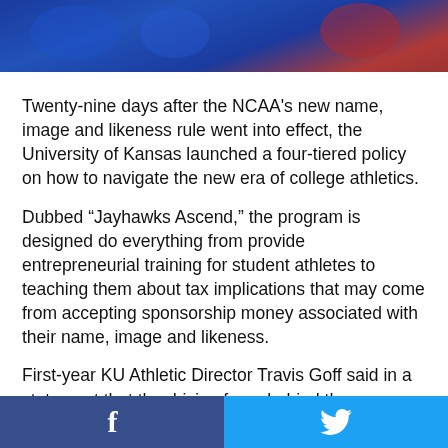[Figure (photo): Photo banner showing people in blue Kansas Jayhawks gear/hats at a sporting event]
Twenty-nine days after the NCAA's new name, image and likeness rule went into effect, the University of Kansas launched a four-tiered policy on how to navigate the new era of college athletics.
Dubbed “Jayhawks Ascend,” the program is designed do everything from provide entrepreneurial training for student athletes to teaching them about tax implications that may come from accepting sponsorship money associated with their name, image and likeness.
First-year KU Athletic Director Travis Goff said in a statement that the driving force behind the new initiative was for KU’s athletic department to continue to do everything it can to put its student-athletes “in the best position to
[Figure (infographic): Social share bar with Facebook button on left (dark blue) and Twitter button on right (light blue)]